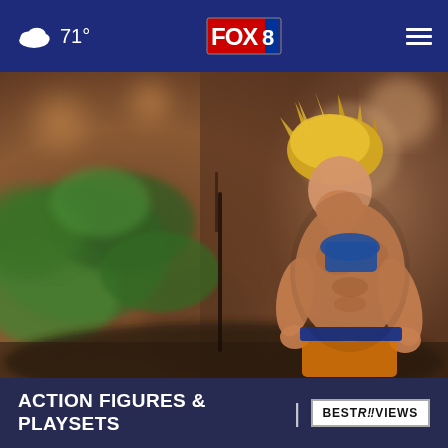☁ 71° | FOX 8 | ≡
[Figure (photo): A Dragon Ball Z Super Saiyan action figure (Goku) posed outdoors among green moss and dark earthy terrain, blurred bokeh background with warm brown tones]
ACTION FIGURES & PLAYSETS
[Figure (logo): BestReviews logo in a rectangular bordered box with white background]